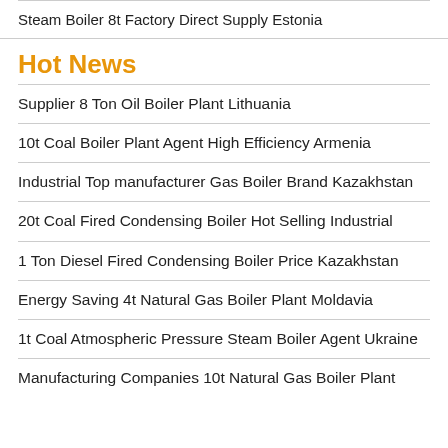Steam Boiler 8t Factory Direct Supply Estonia
Hot News
Supplier 8 Ton Oil Boiler Plant Lithuania
10t Coal Boiler Plant Agent High Efficiency Armenia
Industrial Top manufacturer Gas Boiler Brand Kazakhstan
20t Coal Fired Condensing Boiler Hot Selling Industrial
1 Ton Diesel Fired Condensing Boiler Price Kazakhstan
Energy Saving 4t Natural Gas Boiler Plant Moldavia
1t Coal Atmospheric Pressure Steam Boiler Agent Ukraine
Manufacturing Companies 10t Natural Gas Boiler Plant